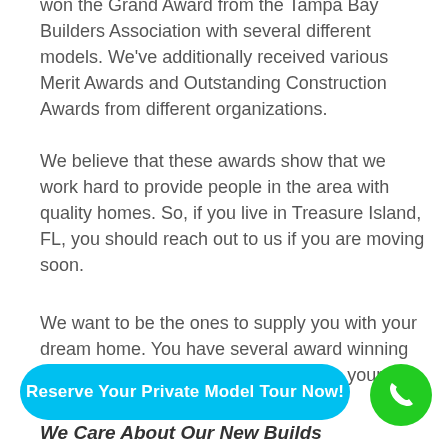won the Grand Award from the Tampa Bay Builders Association with several different models. We've additionally received various Merit Awards and Outstanding Construction Awards from different organizations.
We believe that these awards show that we work hard to provide people in the area with quality homes. So, if you live in Treasure Island, FL, you should reach out to us if you are moving soon.
We want to be the ones to supply you with your dream home. You have several award winning designs to choose from with us- so be [your to...
[Figure (other): Blue rounded rectangle CTA button with white text reading 'Reserve Your Private Model Tour Now!']
[Figure (other): Green circular phone icon button in bottom right corner]
We Care About Our New Builds